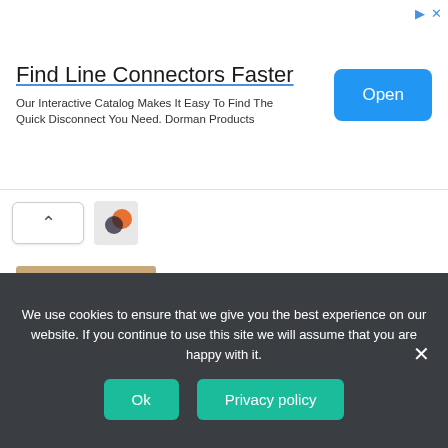[Figure (infographic): Advertisement banner: 'Find Line Connectors Faster' with Open button, subtitle about interactive catalog for Dorman Products]
[Figure (other): Collapsed section with upward chevron button and orange thumbnail icon]
[Figure (photo): Thumbnail image of cutting soap bar with a tool on wooden surface]
How to cut a bar with exactly. Process
Articles   02.07.2022
[Figure (photo): Thumbnail image of person mowing grass with bush trimmer]
How to mow grass with a bush.
Articles   01.07.2022
We use cookies to ensure that we give you the best experience on our website. If you continue to use this site we will assume that you are happy with it.
Ok   Privacy policy